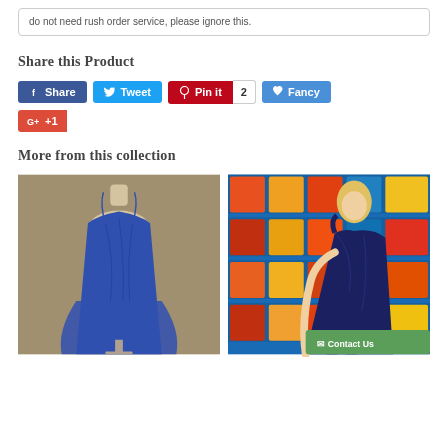do not need rush order service, please ignore this.
Share this Product
Share | Tweet | Pin it 2 | Fancy | G+ +1
More from this collection
[Figure (photo): Blue spaghetti-strap tulle dress on a mannequin]
[Figure (photo): Woman in a navy sequin one-shoulder dress standing in front of a wall of cereal boxes]